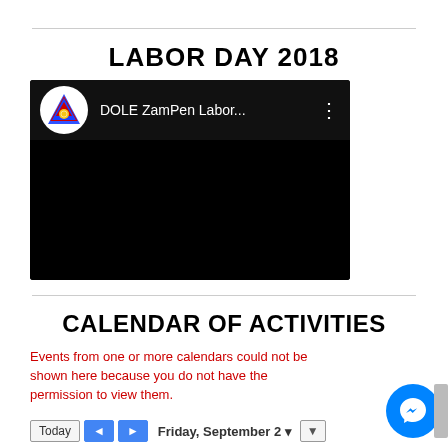LABOR DAY 2018
[Figure (screenshot): Embedded video thumbnail showing DOLE ZamPen Labor... channel with logo on black background]
CALENDAR OF ACTIVITIES
Events from one or more calendars could not be shown here because you do not have the permission to view them.
Today  ◄  ►  Friday, September 2  ▼  ▼